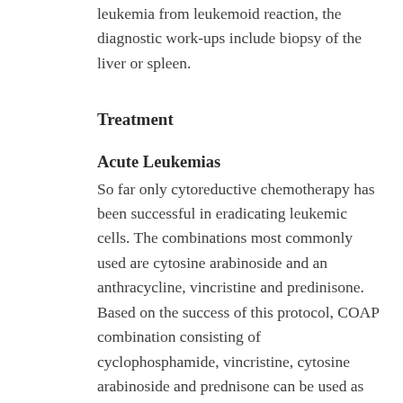leukemia from leukemoid reaction, the diagnostic work-ups include biopsy of the liver or spleen.
Treatment
Acute Leukemias
So far only cytoreductive chemotherapy has been successful in eradicating leukemic cells. The combinations most commonly used are cytosine arabinoside and an anthracycline, vincristine and predinisone. Based on the success of this protocol, COAP combination consisting of cyclophosphamide, vincristine, cytosine arabinoside and prednisone can be used as maintenance therapy in canine lymphoma.
The chemotherapy protocol notwithstanding significant bone marrow suppression will eventually take place. Under these